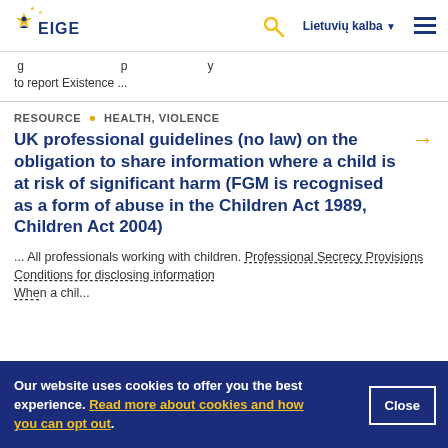[Figure (logo): EIGE (European Institute for Gender Equality) logo with star icon]
... [dashed link text] ... g ... p ... y to report Existence ...
RESOURCE · HEALTH, VIOLENCE
UK professional guidelines (no law) on the obligation to share information where a child is at risk of significant harm (FGM is recognised as a form of abuse in the Children Act 1989, Children Act 2004)
... All professionals working with children. Professional Secrecy Provisions Conditions for disclosing information When a child...
Our website uses cookies to offer you the best experience. Read more about cookies and how you can opt out.